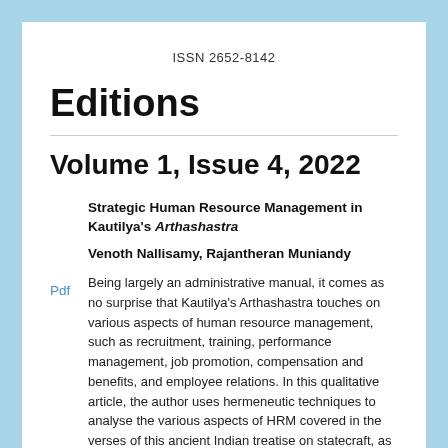ISSN 2652-8142
Editions
Volume 1, Issue 4, 2022
Strategic Human Resource Management in Kautilya's Arthashastra
Venoth Nallisamy, Rajantheran Muniandy
Being largely an administrative manual, it comes as no surprise that Kautilya's Arthashastra touches on various aspects of human resource management, such as recruitment, training, performance management, job promotion, compensation and benefits, and employee relations. In this qualitative article, the author uses hermeneutic techniques to analyse the various aspects of HRM covered in the verses of this ancient Indian treatise on statecraft, as well as their relevance in the
Pdf